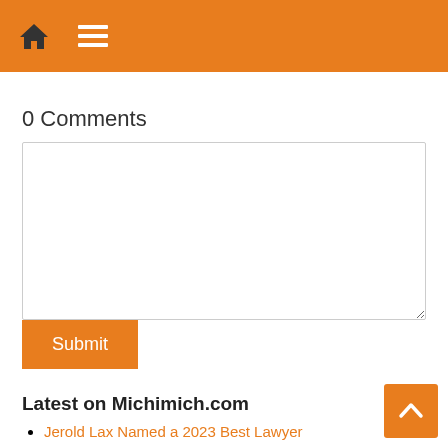Home | Menu
0 Comments
Enter your comment here
Submit
Latest on Michimich.com
Jerold Lax Named a 2023 Best Lawyer
Dan Geherin Named in the 29th Edition of The Best Lawyers in America 2023
MainConcept and Fraunhofer IIS to showcase the future of